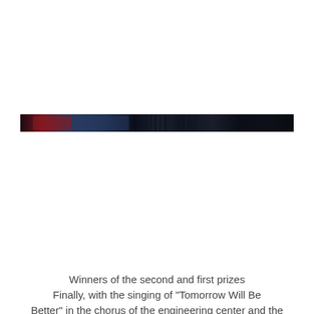[Figure (photo): A narrow horizontal strip photograph showing a blurred/abstract dark scene with shades of blue, black, and a hint of red on the left side, resembling a wide panoramic shot of an event or performance venue.]
Winners of the second and first prizes Finally, with the singing of "Tomorrow Will Be Better" in the chorus of the engineering center and the